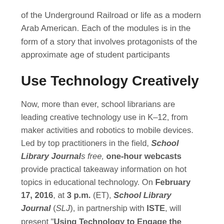of the Underground Railroad or life as a modern Arab American. Each of the modules is in the form of a story that involves protagonists of the approximate age of student participants
Use Technology Creatively
Now, more than ever, school librarians are leading creative technology use in K–12, from maker activities and robotics to mobile devices. Led by top practitioners in the field, School Library Journal's free, one-hour webcasts provide practical takeaway information on hot topics in educational technology. On February 17, 2016, at 3 p.m. (ET), School Library Journal (SLJ), in partnership with ISTE, will present "Using Technology to Engage the Reluctant Reader."
•CYBERMISSION is a free web-based STEM (science…